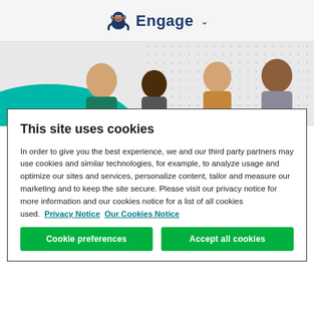[Figure (logo): SurveyMonkey Engage logo with monkey icon and text 'Engage' and a dropdown caret]
[Figure (photo): Hero image of a diverse group of people smiling, with a teal circular blob shape on the left side]
This site uses cookies
In order to give you the best experience, we and our third party partners may use cookies and similar technologies, for example, to analyze usage and optimize our sites and services, personalize content, tailor and measure our marketing and to keep the site secure. Please visit our privacy notice for more information and our cookies notice for a list of all cookies used.  Privacy Notice  Our Cookies Notice
Cookie preferences
Accept all cookies